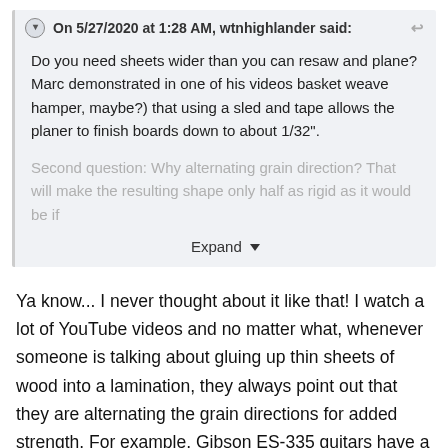On 5/27/2020 at 1:28 AM, wtnhighlander said:
Do you need sheets wider than you can resaw and plane? Marc demonstrated in one of his videos basket weave hamper, maybe?) that using a sled and tape allows the planer to finish boards down to about 1/32".
Second question: Why alternating grain direction? That will make the resulting shape only half as rigid as it would be if
Expand
Ya know... I never thought about it like that! I watch a lot of YouTube videos and no matter what, whenever someone is talking about gluing up thin sheets of wood into a lamination, they always point out that they are alternating the grain directions for added strength. For example, Gibson ES-335 guitars have a 3-ply, maple / poplar / maple laminated top that gets glued and pressed in something like an 80 ton heated press, and Gibson has always pointed out that they crisscross the grain for strength and rigidity.